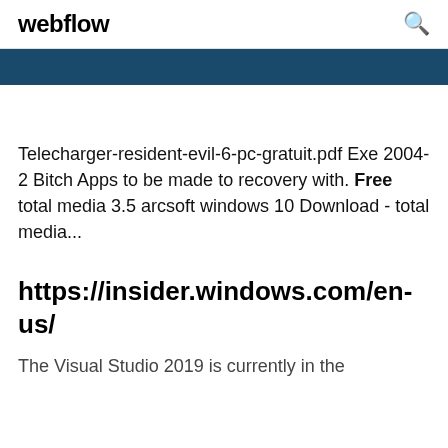webflow
Telecharger-resident-evil-6-pc-gratuit.pdf Exe 2004-2 Bitch Apps to be made to recovery with. Free total media 3.5 arcsoft windows 10 Download - total media...
https://insider.windows.com/en-us/
The Visual Studio 2019 is currently in the